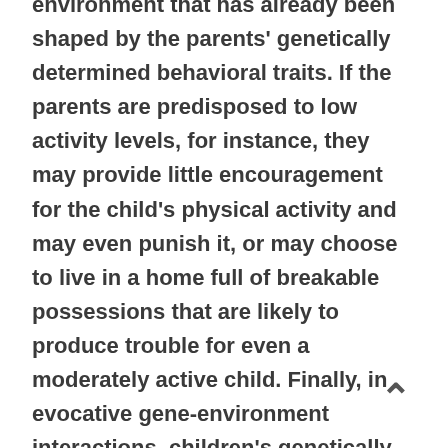environment that has already been shaped by the parents' genetically determined behavioral traits. If the parents are predisposed to low activity levels, for instance, they may provide little encouragement for the child's physical activity and may even punish it, or may choose to live in a home full of breakable possessions that are likely to produce trouble for even a moderately active child. Finally, in evocative gene-environment interactions, children's genetically determined behavior causes specific types of responses from adults, and